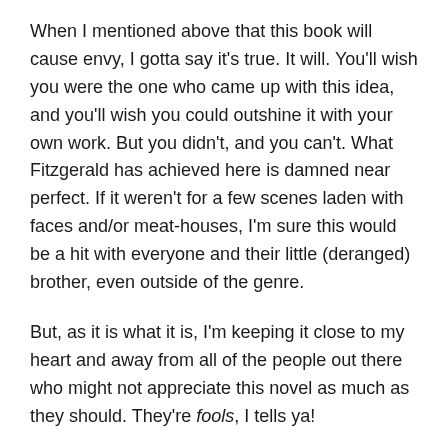When I mentioned above that this book will cause envy, I gotta say it's true. It will. You'll wish you were the one who came up with this idea, and you'll wish you could outshine it with your own work. But you didn't, and you can't. What Fitzgerald has achieved here is damned near perfect. If it weren't for a few scenes laden with faces and/or meat-houses, I'm sure this would be a hit with everyone and their little (deranged) brother, even outside of the genre.
But, as it is what it is, I'm keeping it close to my heart and away from all of the people out there who might not appreciate this novel as much as they should. They're fools, I tells ya!
Now, the whole Alice in Wonderland idea has been done to death in both YA fiction, and in some genre fare as well.